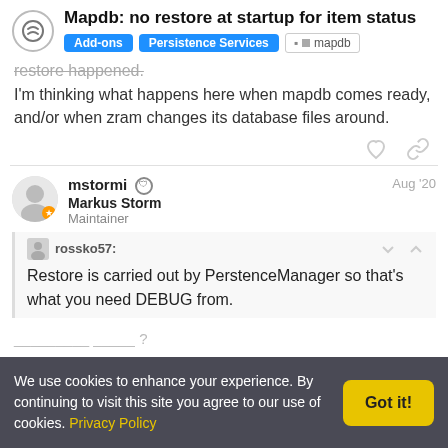Mapdb: no restore at startup for item status
Add-ons   Persistence Services   mapdb
restore happened.
I'm thinking what happens here when mapdb comes ready, and/or when zram changes its database files around.
mstormi  Markus Storm  Maintainer  Aug '20
rossko57:
Restore is carried out by PerstenceManager so that's what you need DEBUG from.
We use cookies to enhance your experience. By continuing to visit this site you agree to our use of cookies. Privacy Policy   Got it!